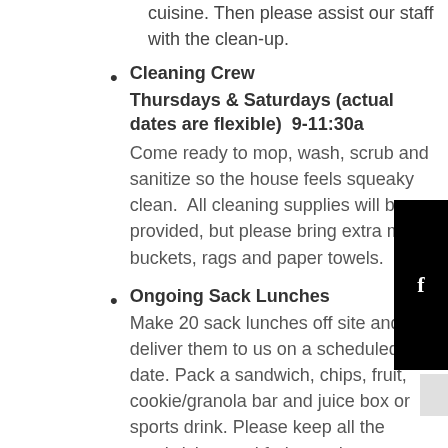cuisine. Then please assist our staff with the clean-up.
Cleaning Crew
Thursdays & Saturdays (actual dates are flexible)  9-11:30a
Come ready to mop, wash, scrub and sanitize so the house feels squeaky clean.  All cleaning supplies will be provided, but please bring extra mops, buckets, rags and paper towels.
Ongoing Sack Lunches
Make 20 sack lunches off site and deliver them to us on a scheduled date. Pack a sandwich, chips, fruit, cookie/granola bar and juice box or sports drink. Please keep all the sandwiches and fruit together so our staff can put them right into the fridge.